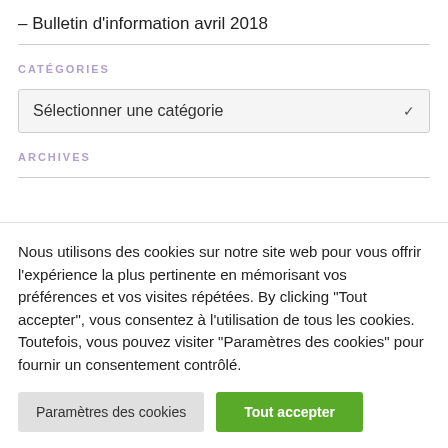– Bulletin d'information avril 2018
CATÉGORIES
Sélectionner une catégorie
ARCHIVES
Nous utilisons des cookies sur notre site web pour vous offrir l'expérience la plus pertinente en mémorisant vos préférences et vos visites répétées. By clicking "Tout accepter", vous consentez à l'utilisation de tous les cookies. Toutefois, vous pouvez visiter "Paramètres des cookies" pour fournir un consentement contrôlé.
Paramètres des cookies
Tout accepter